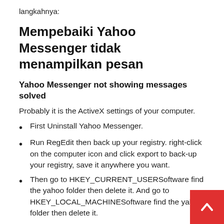langkahnya:
Mempebaiki Yahoo Messenger tidak menampilkan pesan
Yahoo Messenger not showing messages solved
Probably it is the ActiveX settings of your computer.
First Uninstall Yahoo Messenger.
Run RegEdit then back up your registry. right-click on the computer icon and click export to back-up your registry, save it anywhere you want.
Then go to HKEY_CURRENT_USERSoftware find the yahoo folder then delete it. And go to HKEY_LOCAL_MACHINESoftware find the yahoo folder then delete it.